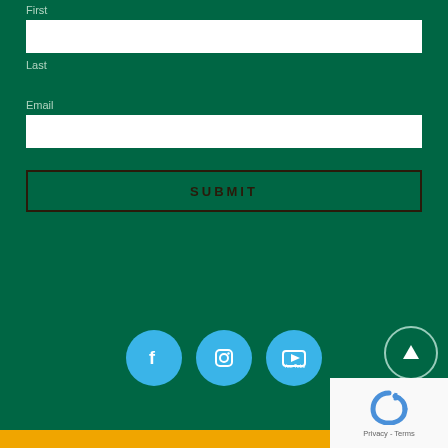First
Last
Email
SUBMIT
[Figure (illustration): Social media icon buttons: Facebook, Instagram, YouTube (blue circles), and a back-to-top arrow button (circle outline), plus a reCAPTCHA box in the bottom right corner, and an orange bar at the bottom.]